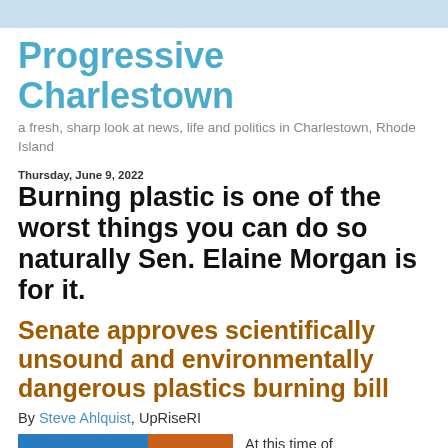Progressive Charlestown
a fresh, sharp look at news, life and politics in Charlestown, Rhode Island
Thursday, June 9, 2022
Burning plastic is one of the worst things you can do so naturally Sen. Elaine Morgan is for it.
Senate approves scientifically unsound and environmentally dangerous plastics burning bill
By Steve Ahlquist, UpRiseRI
[Figure (photo): Partial image showing blue and orange/brown colored sections, likely a photo related to the article]
At this time of